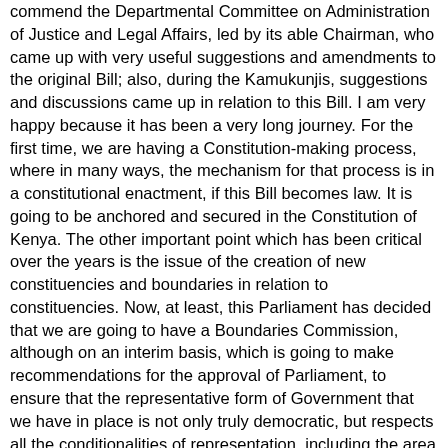commend the Departmental Committee on Administration of Justice and Legal Affairs, led by its able Chairman, who came up with very useful suggestions and amendments to the original Bill; also, during the Kamukunjis, suggestions and discussions came up in relation to this Bill. I am very happy because it has been a very long journey. For the first time, we are having a Constitution-making process, where in many ways, the mechanism for that process is in a constitutional enactment, if this Bill becomes law. It is going to be anchored and secured in the Constitution of Kenya. The other important point which has been critical over the years is the issue of the creation of new constituencies and boundaries in relation to constituencies. Now, at least, this Parliament has decided that we are going to have a Boundaries Commission, although on an interim basis, which is going to make recommendations for the approval of Parliament, to ensure that the representative form of Government that we have in place is not only truly democratic, but respects all the conditionalities of representation, including the area and the principle of one man one vote. I think that all these are well covered in this Bill. Mr. Deputy Speaker, Sir, with the passage of this Bill, Kenya is starting on a new journey. I think that Parliament is going to stamp its authority in the process, as it has done, and ensure that Kenya rises up from the ashes, to become truly a democratic